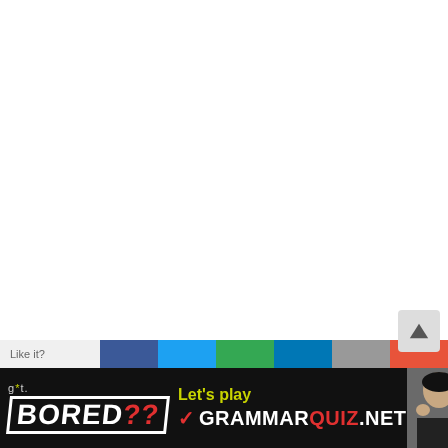[Figure (screenshot): White blank content area (main page body, mostly empty white space)]
[Figure (infographic): Social sharing bar with Facebook, Twitter, Google+, LinkedIn, Email, and Reddit colored buttons, and Like it? text]
[Figure (infographic): Navigation arrow button (pointing up/north) on light grey background, positioned bottom right]
[Figure (infographic): Bottom advertisement banner: black background with 'got. BORED??' logo on left, 'Let's play GRAMMARQUIZ.NET' text in center, and girl photo on right]